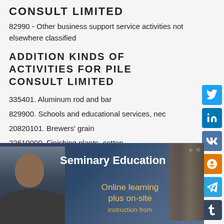CONSULT LIMITED
82990 - Other business support service activities not elsewhere classified
ADDITION KINDS OF ACTIVITIES FOR PILE CONSULT LIMITED
335401. Aluminum rod and bar
829900. Schools and educational services, nec
20820101. Brewers' grain
22610000. Finishing plants, cotton
24930200. Particleboard products
34839913. Torpedoes and parts (ordnance)
[Figure (photo): Advertisement banner for Seminary Education featuring a man and text 'Online learning plus on-site instruction from']